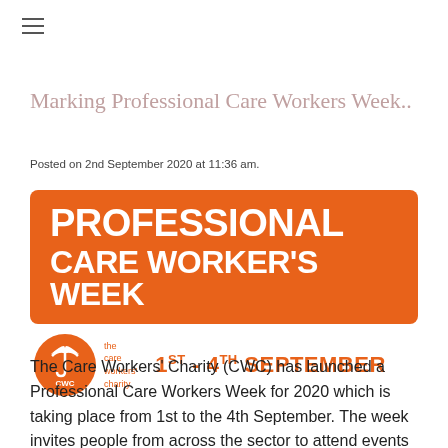Marking Professional Care Workers Week..
Posted on 2nd September 2020 at 11:36 am.
[Figure (logo): Orange banner graphic for Professional Care Worker's Week, featuring the CWC (Care Workers' Charity) logo and the text '1st - 4th September']
The Care Workers' Charity (CWC) has launched a Professional Care Workers Week for 2020 which is taking place from 1st to the 4th September. The week invites people from across the sector to attend events virtually or in person to celebrate and